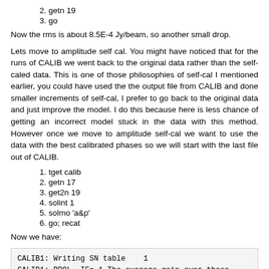2. getn 19
3. go
Now the rms is about 8.5E-4 Jy/beam, so another small drop.
Lets move to amplitude self cal. You might have noticed that for the runs of CALIB we went back to the original data rather than the self-caled data. This is one of those philosophies of self-cal I mentioned earlier, you could have used the the output file from CALIB and done smaller increments of self-cal, I prefer to go back to the original data and just improve the model. I do this because here is less chance of getting an incorrect model stuck in the data with this method. However once we move to amplitude self-cal we want to use the data with the best calibrated phases so we will start with the last file out of CALIB.
1. tget calib
2. getn 17
3. get2n 19
4. solint 1
5. solmo 'a&p'
6. go; recat
Now we have:
CALIB1: Writing SN table    1
CALIB1: RPOL, IF= 1 The average gain over these